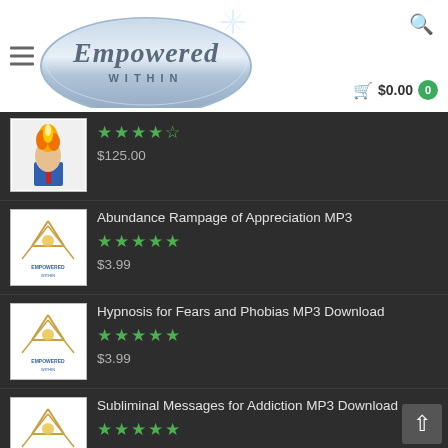[Figure (logo): Empowered Within logo with stylized cursive text on metallic oval background]
$125.00 — (product with fire head image), rated 4.5 stars
Abundance Rampage of Appreciation MP3 — rated 5 stars — $3.99
Hypnosis for Fears and Phobias MP3 Download — rated 5 stars — $3.99
Subliminal Messages for Addiction MP3 Download — rated 5 stars — $3.99